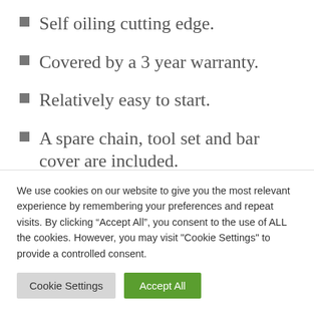Self oiling cutting edge.
Covered by a 3 year warranty.
Relatively easy to start.
A spare chain, tool set and bar cover are included.
Cons:
500 mm guide bar. This guide bar is just too long for
We use cookies on our website to give you the most relevant experience by remembering your preferences and repeat visits. By clicking “Accept All”, you consent to the use of ALL the cookies. However, you may visit "Cookie Settings" to provide a controlled consent.